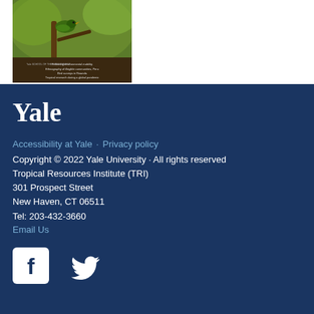[Figure (photo): Book cover showing a bird on a branch with green background, Yale School of the Environment publication with text about tropical research topics.]
Yale
Accessibility at Yale · Privacy policy
Copyright © 2022 Yale University · All rights reserved
Tropical Resources Institute (TRI)
301 Prospect Street
New Haven, CT 06511
Tel: 203-432-3660
Email Us
[Figure (logo): Facebook icon (white 'f' logo) and Twitter icon (white bird logo) social media icons on dark blue background.]